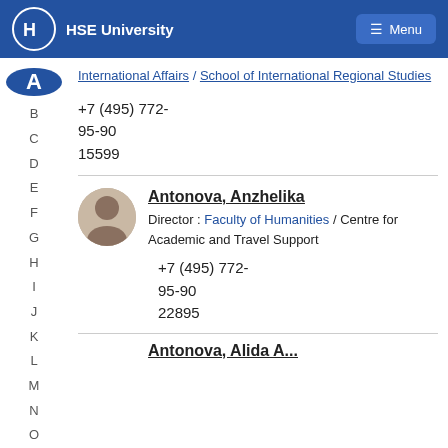HSE University  Menu
International Affairs / School of International Regional Studies
+7 (495) 772-95-90
15599
Antonova, Anzhelika
Director : Faculty of Humanities / Centre for Academic and Travel Support
+7 (495) 772-95-90
22895
Antonova, Alida A...